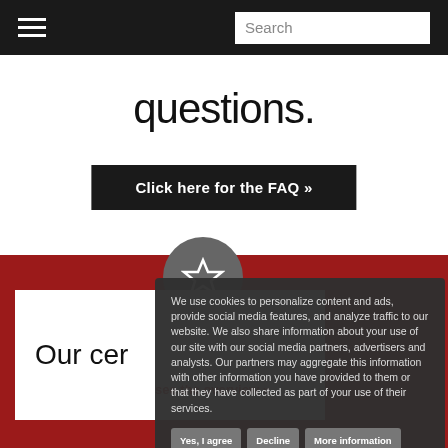Search
questions.
Click here for the FAQ »
Our cer
We use cookies to personalize content and ads, provide social media features, and analyze traffic to our website. We also share information about your use of our site with our social media partners, advertisers and analysts. Our partners may aggregate this information with other information you have provided to them or that they have collected as part of your use of their services.
Yes, I agree
Decline
More information